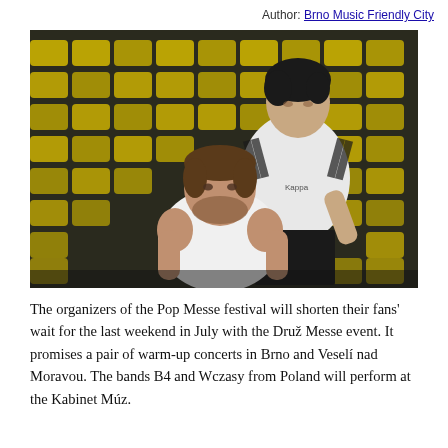Author: Brno Music Friendly City
[Figure (photo): Two young men sitting in yellow stadium seats. One man in a white Kappa t-shirt and black pants stands behind, leaning on the seat. Another man in a white tank top sits in front, both looking at the camera.]
The organizers of the Pop Messe festival will shorten their fans' wait for the last weekend in July with the Druž Messe event. It promises a pair of warm-up concerts in Brno and Veselí nad Moravou. The bands B4 and Wczasy from Poland will perform at the Kabinet Múz.